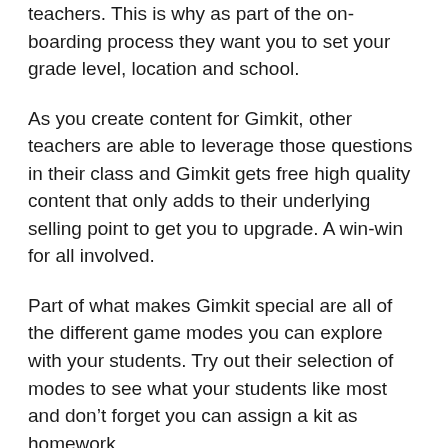teachers. This is why as part of the on-boarding process they want you to set your grade level, location and school.
As you create content for Gimkit, other teachers are able to leverage those questions in their class and Gimkit gets free high quality content that only adds to their underlying selling point to get you to upgrade. A win-win for all involved.
Part of what makes Gimkit special are all of the different game modes you can explore with your students. Try out their selection of modes to see what your students like most and don't forget you can assign a kit as homework.